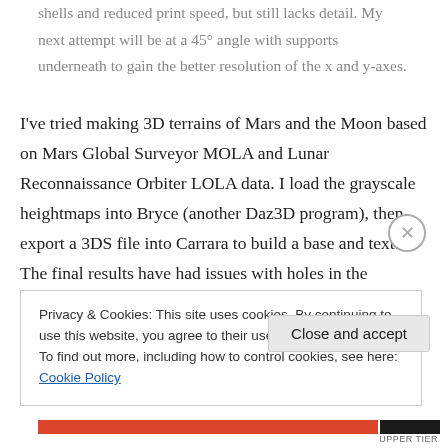shells and reduced print speed, but still lacks detail. My next attempt will be at a 45° angle with supports underneath to gain the better resolution of the x and y-axes.
I've tried making 3D terrains of Mars and the Moon based on Mars Global Surveyor MOLA and Lunar Reconnaissance Orbiter LOLA data. I load the grayscale heightmaps into Bryce (another Daz3D program), then export a 3DS file into Carrara to build a base and text. The final results have had issues with holes in the bottoms of craters, text that doesn't show up well, and insufficient
Privacy & Cookies: This site uses cookies. By continuing to use this website, you agree to their use.
To find out more, including how to control cookies, see here: Cookie Policy
Close and accept